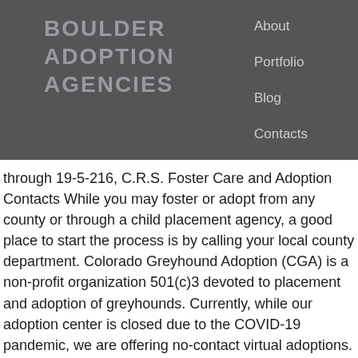BOULDER ADOPTION AGENCIES
About
Portfolio
Blog
Contacts
through 19-5-216, C.R.S. Foster Care and Adoption Contacts While you may foster or adopt from any county or through a child placement agency, a good place to start the process is by calling your local county department. Colorado Greyhound Adoption (CGA) is a non-profit organization 501(c)3 devoted to placement and adoption of greyhounds. Currently, while our adoption center is closed due to the COVID-19 pandemic, we are offering no-contact virtual adoptions. Agency Description: “Completing more than 300 domestic adoptions each year, American Adoptions is currently one of the largest domestic adoption agencies of its kind in the United States. See reviews